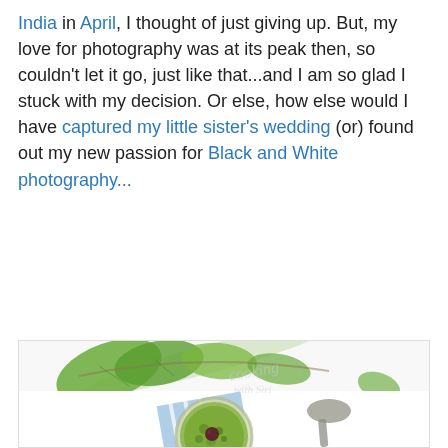India in April, I thought of just giving up. But, my love for photography was at its peak then, so couldn't let it go, just like that...and I am so glad I stuck with my decision. Or else, how else would I have captured my little sister's wedding (or) found out my new passion for Black and White photography...
[Figure (photo): Top-down food photography shot showing a glass jar filled with green herb mixture (pesto-like), garnished with a dark berry/cherry, with a metal spoon, a blue and white striped cloth, and fresh green herb leaves (likely mint or basil) scattered on a white background. Watermark reads 'cooking with Siri'.]